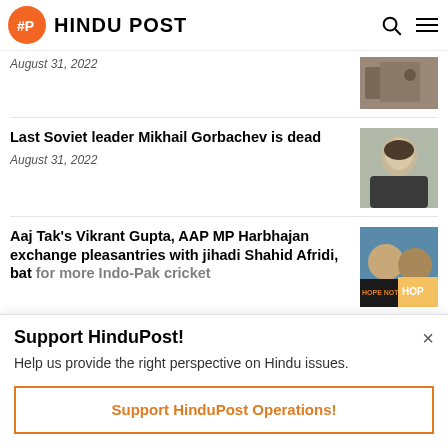HINDU POST
August 31, 2022
Last Soviet leader Mikhail Gorbachev is dead
August 31, 2022
Aaj Tak's Vikrant Gupta, AAP MP Harbhajan exchange pleasantries with jihadi Shahid Afridi, bat for more Indo-Pak cricket
Support HinduPost!
Help us provide the right perspective on Hindu issues.
Support HinduPost Operations!